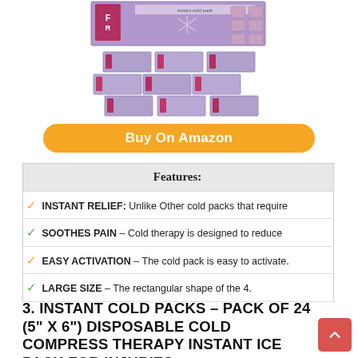[Figure (photo): Product image showing instant cold packs - single pack on top and multiple packs arranged in a grid below]
Buy On Amazon
| Features: |
| --- |
| ✓ INSTANT RELIEF: Unlike Other cold packs that require |
| ✓ SOOTHES PAIN – Cold therapy is designed to reduce |
| ✓ EASY ACTIVATION – The cold pack is easy to activate. |
| ✓ LARGE SIZE – The rectangular shape of the 4. |
3. INSTANT COLD PACKS – PACK OF 24 (5" X 6") DISPOSABLE COLD COMPRESS THERAPY INSTANT ICE PACK FOR INJURIES